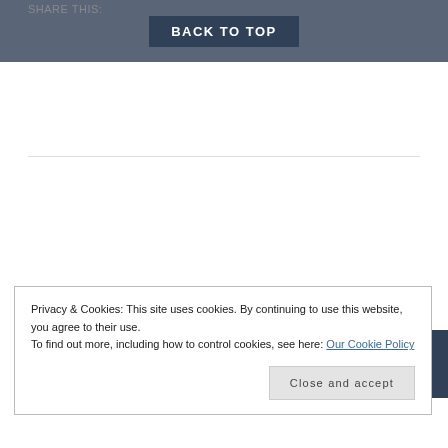SHARE THIS:
BACK TO TOP
Featured Post
Adherence, Client engagement, Clinical outcomes, Compliance, Owner satisfaction, Recommendation, Treatments, Vet-client relationship
Privacy & Cookies: This site uses cookies. By continuing to use this website, you agree to their use.
To find out more, including how to control cookies, see here: Our Cookie Policy
Close and accept